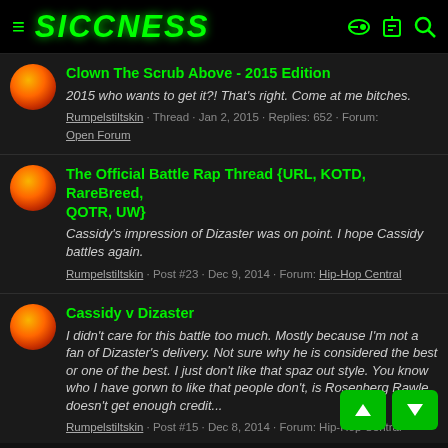SICCNESS
Clown The Scrub Above - 2015 Edition
2015 who wants to get it?! That's right. Come at me bitches.
Rumpelstiltskin · Thread · Jan 2, 2015 · Replies: 652 · Forum: Open Forum
The Official Battle Rap Thread {URL, KOTD, RareBreed, QOTR, UW}
Cassidy's impression of Dizaster was on point. I hope Cassidy battles again.
Rumpelstiltskin · Post #23 · Dec 9, 2014 · Forum: Hip-Hop Central
Cassidy v Dizaster
I didn't care for this battle too much. Mostly because I'm not a fan of Dizaster's delivery. Not sure why he is considered the best or one of the best. I just don't like that spaz out style. You know who I have gorwn to like that people don't, is Rosenberg Rawle doesn't get enough credit...
Rumpelstiltskin · Post #15 · Dec 8, 2014 · Forum: Hip-Hop Central